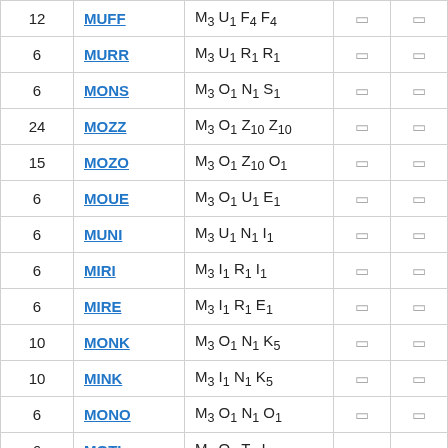|  |  |  |  |  |
| --- | --- | --- | --- | --- |
| 12 | MUFF | M₃ U₁ F₄ F₄ | □ | □ |
| 6 | MURR | M₃ U₁ R₁ R₁ | □ | □ |
| 6 | MONS | M₃ O₁ N₁ S₁ | □ | □ |
| 24 | MOZZ | M₃ O₁ Z₁₀ Z₁₀ | □ | □ |
| 15 | MOZO | M₃ O₁ Z₁₀ O₁ | □ | □ |
| 6 | MOUE | M₃ O₁ U₁ E₁ | □ | □ |
| 6 | MUNI | M₃ U₁ N₁ I₁ | □ | □ |
| 6 | MIRI | M₃ I₁ R₁ I₁ | □ | □ |
| 6 | MIRE | M₃ I₁ R₁ E₁ | □ | □ |
| 10 | MONK | M₃ O₁ N₁ K₅ | □ | □ |
| 10 | MINK | M₃ I₁ N₁ K₅ | □ | □ |
| 6 | MONO | M₃ O₁ N₁ O₁ | □ | □ |
| 6 | MOTI | M₃ O₁ T₁ I₁ | □ | □ |